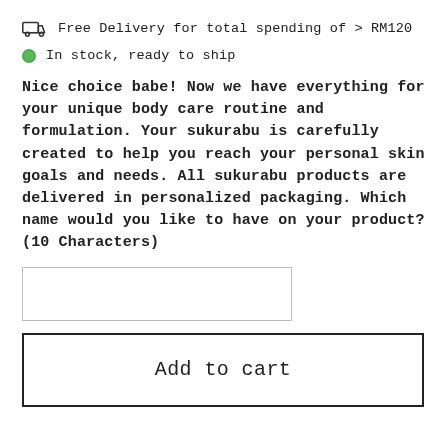Free Delivery for total spending of > RM120
In stock, ready to ship
Nice choice babe! Now we have everything for your unique body care routine and formulation. Your sukurabu is carefully created to help you reach your personal skin goals and needs. All sukurabu products are delivered in personalized packaging. Which name would you like to have on your product? (10 Characters)
Add to cart